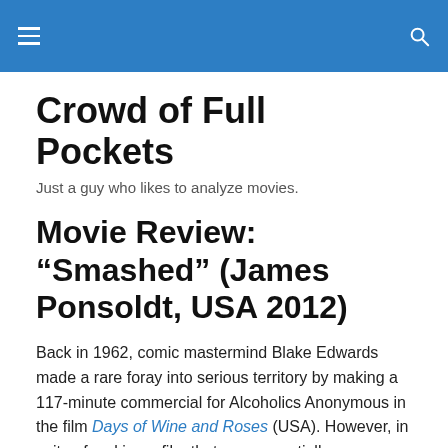Crowd of Full Pockets — navigation bar with hamburger menu and search icon
Crowd of Full Pockets
Just a guy who likes to analyze movies.
Movie Review: “Smashed” (James Ponsoldt, USA 2012)
Back in 1962, comic mastermind Blake Edwards made a rare foray into serious territory by making a 117-minute commercial for Alcoholics Anonymous in the film Days of Wine and Roses (USA). However, in spite of making a film that was essentially an infomercial, Edwards was able to make something compelling. How? He knew to draw